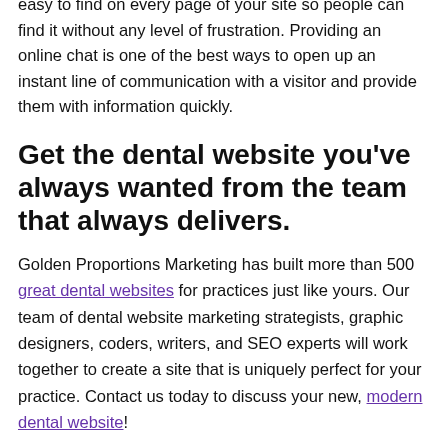easy to find on every page of your site so people can find it without any level of frustration. Providing an online chat is one of the best ways to open up an instant line of communication with a visitor and provide them with information quickly.
Get the dental website you've always wanted from the team that always delivers.
Golden Proportions Marketing has built more than 500 great dental websites for practices just like yours. Our team of dental website marketing strategists, graphic designers, coders, writers, and SEO experts will work together to create a site that is uniquely perfect for your practice. Contact us today to discuss your new, modern dental website!